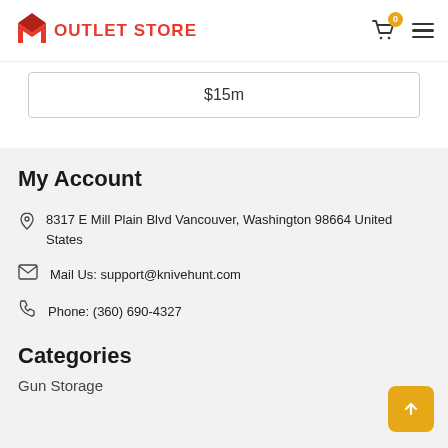M OUTLET STORE
$15m
My Account
8317 E Mill Plain Blvd Vancouver, Washington 98664 United States
Mail Us: support@knivehunt.com
Phone: (360) 690-4327
Categories
Gun Storage